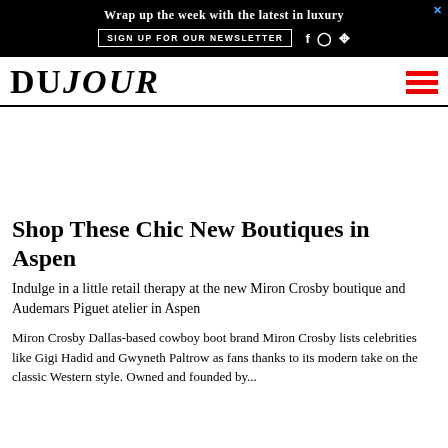[Figure (other): Advertisement banner: black background with text 'Wrap up the week with the latest in luxury', button 'SIGN UP FOR OUR NEWSLETTER', social media icons for Facebook, Instagram, Twitter, and an X close button.]
DUJOUR
Shop These Chic New Boutiques in Aspen
Indulge in a little retail therapy at the new Miron Crosby boutique and Audemars Piguet atelier in Aspen
Miron Crosby Dallas-based cowboy boot brand Miron Crosby lists celebrities like Gigi Hadid and Gwyneth Paltrow as fans thanks to its modern take on the classic Western style. Owned and founded by...